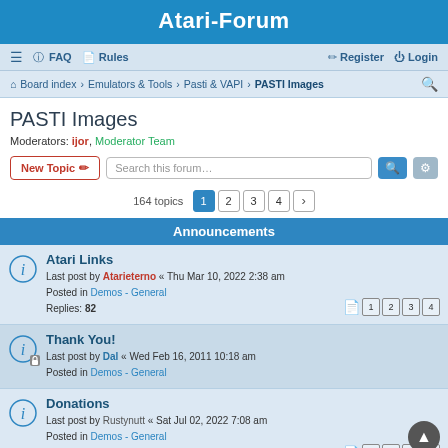Atari-Forum
≡  FAQ  Rules    Register  Login
Board index › Emulators & Tools › Pasti & VAPI › PASTI Images
PASTI Images
Moderators: ijor, Moderator Team
New Topic  Search this forum…  164 topics  1 2 3 4 >
Announcements
Atari Links
Last post by Atarieterno « Thu Mar 10, 2022 2:38 am
Posted in Demos - General
Replies: 82
Thank You!
Last post by Dal « Wed Feb 16, 2011 10:18 am
Posted in Demos - General
Donations
Last post by Rustynutt « Sat Jul 02, 2022 7:08 am
Posted in Demos - General
Replies: 96